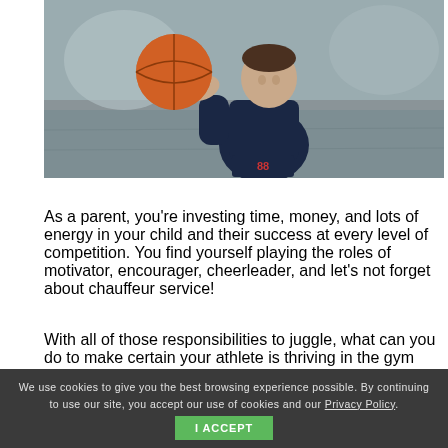[Figure (photo): A young child in a basketball jersey holding a basketball, photographed on an outdoor court. The child is wearing number 88 shorts.]
As a parent, you're investing time, money, and lots of energy in your child and their success at every level of competition. You find yourself playing the roles of motivator, encourager, cheerleader, and let's not forget about chauffeur service!
With all of those responsibilities to juggle, what can you do to make certain your athlete is thriving in the gym and coaching environment? How do you set your athlete up to ensure their boundaries are respected and that they have
We use cookies to give you the best browsing experience possible. By continuing to use our site, you accept our use of cookies and our Privacy Policy.  I ACCEPT